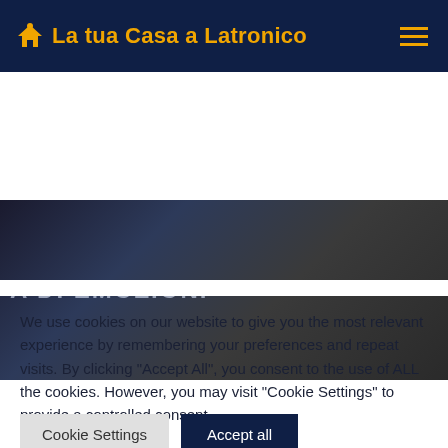La tua Casa a Latronico
[Figure (photo): Dark blurred hero image with text 'A DI EMOZIONI' partially visible on left side]
We use cookies on our website to give you the most relevant experience by remembering your preferences and repeat visits. By clicking "Accept All", you consent to the use of ALL the cookies. However, you may visit "Cookie Settings" to provide a controlled consent.
Cookie Settings  |  Accept all